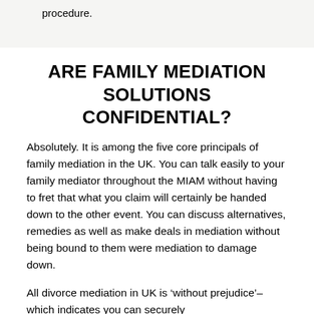procedure.
ARE FAMILY MEDIATION SOLUTIONS CONFIDENTIAL?
Absolutely. It is among the five core principals of family mediation in the UK. You can talk easily to your family mediator throughout the MIAM without having to fret that what you claim will certainly be handed down to the other event. You can discuss alternatives, remedies as well as make deals in mediation without being bound to them were mediation to damage down.
All divorce mediation in UK is ‘without prejudice’– which indicates you can securely